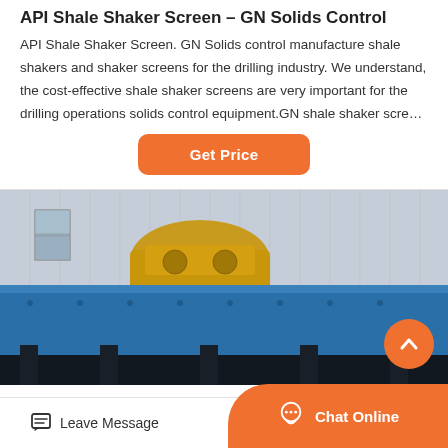API Shale Shaker Screen – GN Solids Control
API Shale Shaker Screen. GN Solids control manufacture shale shakers and shaker screens for the drilling industry. We understand, the cost-effective shale shaker screens are very important for the drilling operations solids control equipment.GN shale shaker scre…
[Figure (other): Orange 'Get Price' button with rounded corners]
[Figure (photo): Industrial shale shaker equipment in a factory/outdoor setting. Blue metal shaker body in foreground, yellow/gold mechanical equipment behind, corrugated metal building in background.]
Leave Message
Chat Online